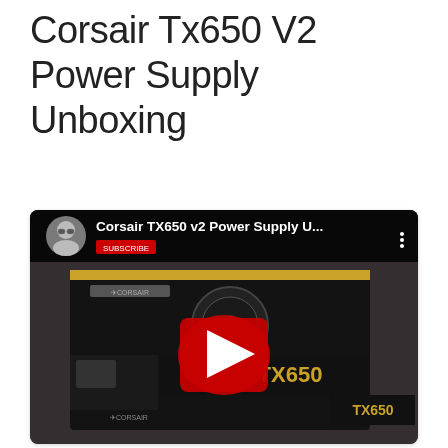Corsair Tx650 V2 Power Supply Unboxing
Posted by admin on June 26, 2017 in corsair
[Figure (screenshot): Embedded YouTube video thumbnail showing Corsair TX650 v2 Power Supply Unboxing video with YouTube play button overlay. Video title bar reads 'Corsair TX650 v2 Power Supply U...' with a profile photo of a man with glasses on the left. The thumbnail shows a Corsair TX650 power supply box on a grid surface.]